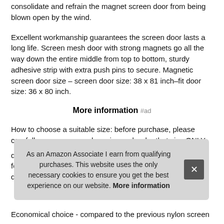consolidate and refrain the magnet screen door from being blown open by the wind.
Excellent workmanship guarantees the screen door lasts a long life. Screen mesh door with strong magnets go all the way down the entire middle from top to bottom, sturdy adhesive strip with extra push pins to secure. Magnetic screen door size – screen door size: 38 x 81 inch–fit door size: 36 x 80 inch.
More information #ad
How to choose a suitable size: before purchase, please carefully measure your door size and order that size ONLY doo... for a... dura...
As an Amazon Associate I earn from qualifying purchases. This website uses the only necessary cookies to ensure you get the best experience on our website. More information
Economical choice - compared to the previous nylon screen